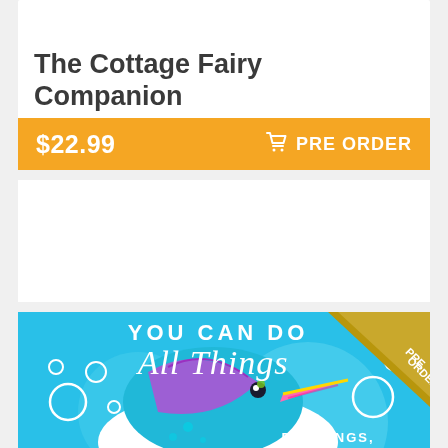The Cottage Fairy Companion
$22.99  🛒 PRE ORDER
[Figure (illustration): Book cover for 'You Can Do All Things' with a colorful cartoon narwhal on a cyan/blue background with the text 'YOU CAN DO All Things' in white lettering and 'DRAWINGS,' text at the bottom. A gold 'PRE ORDER' corner banner is in the top right.]